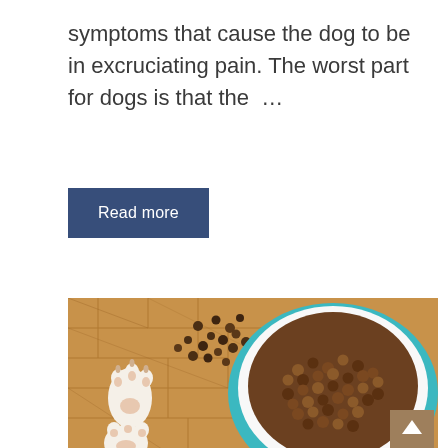symptoms that cause the dog to be in excruciating pain. The worst part for dogs is that the …
Read more
[Figure (photo): Top-down view of a dog bowl filled with dry kibble on a wooden parquet floor, with scattered kibble and dog paws visible to the left, and a scroll-to-top button in the bottom right corner.]